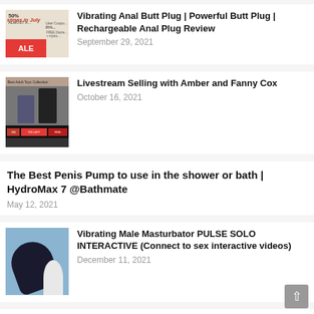[Figure (photo): Thumbnail of a sale advertisement with red SALE banner and 50% off text]
Vibrating Anal Butt Plug | Powerful Butt Plug | Rechargeable Anal Plug Review
September 29, 2021
[Figure (photo): Thumbnail of two women in a livestream selling adult toys]
Livestream Selling with Amber and Fanny Cox
October 16, 2021
The Best Penis Pump to use in the shower or bath | HydroMax 7 @Bathmate
May 12, 2021
[Figure (photo): Thumbnail of a hand holding a black vibrating male masturbator device against blue background]
Vibrating Male Masturbator PULSE SOLO INTERACTIVE (Connect to sex interactive videos)
December 11, 2021
[Figure (photo): Thumbnail of a butt plug product against orange background]
Butt Plug: Prostate and Perineum Massager VICK from SVAKOM | anal sex toys